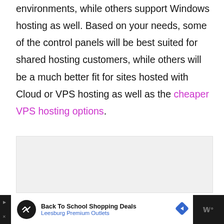environments, while others support Windows hosting as well. Based on your needs, some of the control panels will be best suited for shared hosting customers, while others will be a much better fit for sites hosted with Cloud or VPS hosting as well as the cheaper VPS hosting options.
[Figure (other): Gray placeholder advertisement box]
[Figure (screenshot): Dark advertisement bar at bottom showing 'Back To School Shopping Deals - Leesburg Premium Outlets' with circular logo icon, navigation arrow, and W logo on right panel]